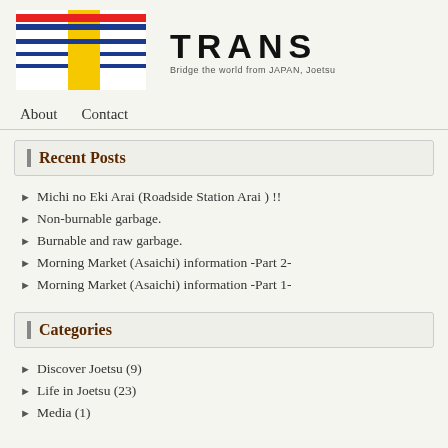[Figure (logo): TRANS blog logo with colored horizontal stripes (red, blue, white) and a yellow square forming a T shape, alongside bold 'TRANS' text and tagline 'Bridge the world from JAPAN, Joetsu']
About   Contact
Recent Posts
Michi no Eki Arai (Roadside Station Arai ) !!
Non-burnable garbage.
Burnable and raw garbage.
Morning Market (Asaichi) information -Part 2-
Morning Market (Asaichi) information -Part 1-
Categories
Discover Joetsu (9)
Life in Joetsu (23)
Media (1)